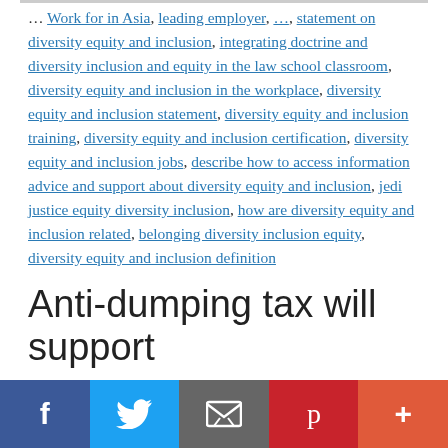Work for in Asia, leading employer, ..., statement on diversity equity and inclusion, integrating doctrine and diversity inclusion and equity in the law school classroom, diversity equity and inclusion in the workplace, diversity equity and inclusion statement, diversity equity and inclusion training, diversity equity and inclusion certification, diversity equity and inclusion jobs, describe how to access information advice and support about diversity equity and inclusion, jedi justice equity diversity inclusion, how are diversity equity and inclusion related, belonging diversity inclusion equity, diversity equity and inclusion definition
Anti-dumping tax will support
[Figure (infographic): Social sharing bar with Facebook (blue), Twitter (light blue), Email (gray), Pinterest (red), and More (+) (orange-red) buttons]